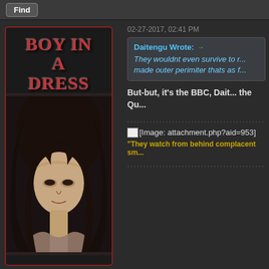Find
02-27-2017, 02:41 PM
Daitengu Wrote: → They wouldnt even survive to r... made outer perimiter thats as f...
But-but, it's the BBC, Dait... the Qu...
[Figure (illustration): Forum avatar image titled 'BOY IN A DRESS' showing a dark-haired androgynous illustrated character]
[Image: attachment.php?aid=953]
"They watch from behind complacent sm...